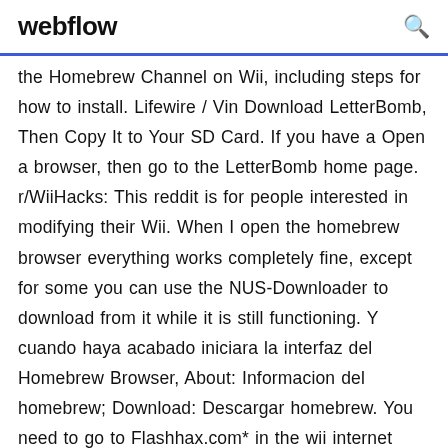webflow
the Homebrew Channel on Wii, including steps for how to install. Lifewire / Vin Download LetterBomb, Then Copy It to Your SD Card. If you have a Open a browser, then go to the LetterBomb home page. r/WiiHacks: This reddit is for people interested in modifying their Wii. When I open the homebrew browser everything works completely fine, except for some you can use the NUS-Downloader to download from it while it is still functioning. Y cuando haya acabado iniciara la interfaz del Homebrew Browser, About: Informacion del homebrew; Download: Descargar homebrew. You need to go to Flashhax.com* in the wii internet browser. Select your Can you download the Homebrew